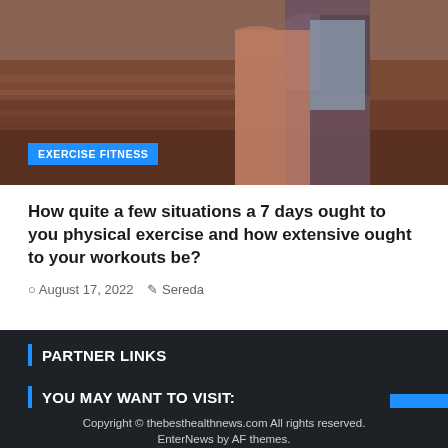[Figure (photo): Two people viewed from behind sitting on a canyon overlook, rocky red landscape visible, one wearing a grey tank top]
EXERCISE FITNESS
How quite a few situations a 7 days ought to you physical exercise and how extensive ought to your workouts be?
August 17, 2022   Sereda
PARTNER LINKS
YOU MAY WANT TO VISIT:
cube with technology
Copyright © thebesthealthnews.com All rights reserved. EnterNews by AF themes.